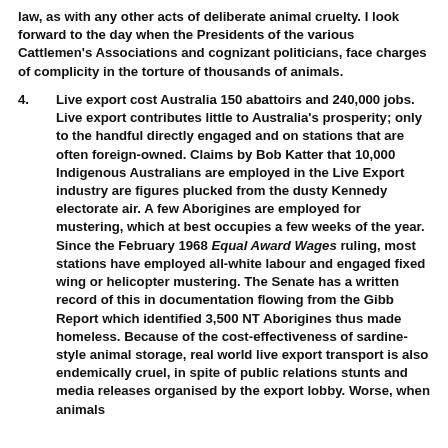law, as with any other acts of deliberate animal cruelty. I look forward to the day when the Presidents of the various Cattlemen's Associations and cognizant politicians, face charges of complicity in the torture of thousands of animals.
4.      Live export cost Australia 150 abattoirs and 240,000 jobs. Live export contributes little to Australia's prosperity; only to the handful directly engaged and on stations that are often foreign-owned. Claims by Bob Katter that 10,000 Indigenous Australians are employed in the Live Export industry are figures plucked from the dusty Kennedy electorate air. A few Aborigines are employed for mustering, which at best occupies a few weeks of the year. Since the February 1968 Equal Award Wages ruling, most stations have employed all-white labour and engaged fixed wing or helicopter mustering. The Senate has a written record of this in documentation flowing from the Gibb Report which identified 3,500 NT Aborigines thus made homeless. Because of the cost-effectiveness of sardine-style animal storage, real world live export transport is also endemically cruel, in spite of public relations stunts and media releases organised by the export lobby. Worse, when animals